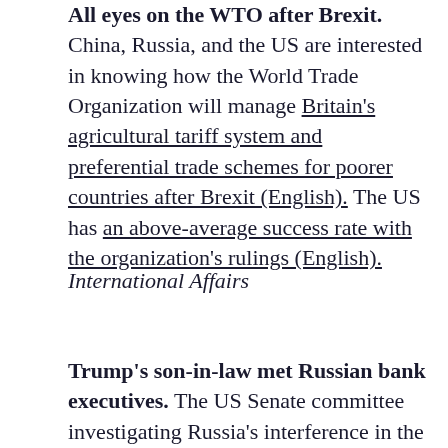All eyes on the WTO after Brexit. China, Russia, and the US are interested in knowing how the World Trade Organization will manage Britain's agricultural tariff system and preferential trade schemes for poorer countries after Brexit (English). The US has an above-average success rate with the organization's rulings (English).
International Affairs
Trump's son-in-law met Russian bank executives. The US Senate committee investigating Russia's interference in the election wants to interview Jared